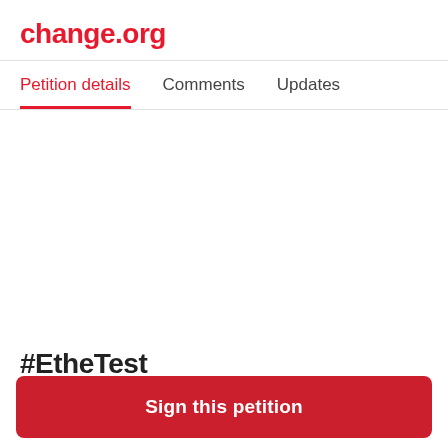change.org
Petition details   Comments   Updates
#EtheTest
Sign this petition